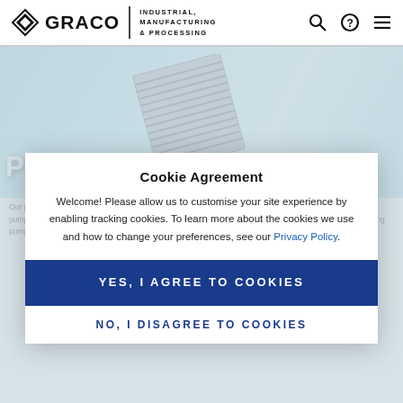GRACO | INDUSTRIAL, MANUFACTURING & PROCESSING
[Figure (screenshot): Graco website screenshot showing a cookie agreement modal overlay on the Plunger & Metering product page. The header shows the Graco logo with Industrial, Manufacturing & Processing text and search/help/menu icons. Behind the modal is a hero banner with a blue gradient background showing a pump product and the large white text PLUNGER & METERING. The modal contains a Cookie Agreement dialog with Yes/No buttons.]
Cookie Agreement
Welcome! Please allow us to customise your site experience by enabling tracking cookies. To learn more about the cookies we use and how to change your preferences, see our Privacy Policy.
YES, I AGREE TO COOKIES
NO, I DISAGREE TO COOKIES